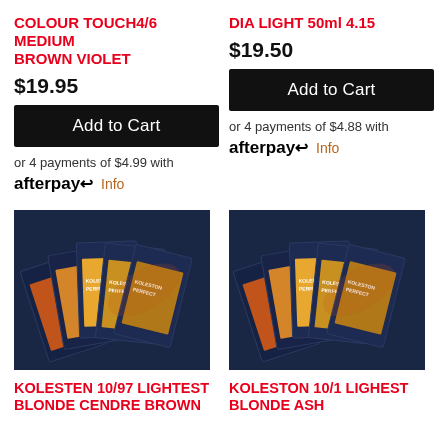COLOUR TOUCH4/6 MEDIUM BROWN VIOLET
$19.95
Add to Cart
or 4 payments of $4.99 with afterpay Info
DIA LIGHT 50ml 4.15
$19.50
Add to Cart
or 4 payments of $4.88 with afterpay Info
[Figure (photo): Stack of Koleston Perfect hair colour product boxes fanned out showing multiple shades]
[Figure (photo): Stack of Koleston Perfect hair colour product boxes fanned out showing multiple shades]
KOLESTEN 10/97 LIGHTEST BLONDE CENDRE BROWN
KOLESTON 10/1 LIGHEST BLONDE ASH